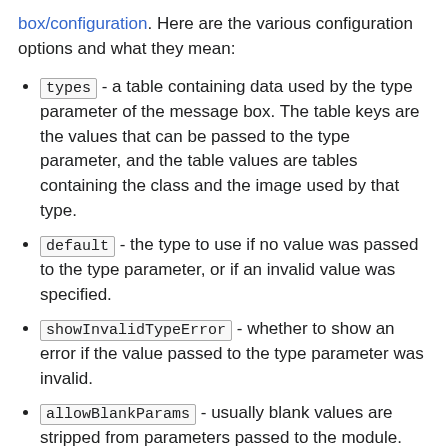box/configuration. Here are the various configuration options and what they mean:
types - a table containing data used by the type parameter of the message box. The table keys are the values that can be passed to the type parameter, and the table values are tables containing the class and the image used by that type.
default - the type to use if no value was passed to the type parameter, or if an invalid value was specified.
showInvalidTypeError - whether to show an error if the value passed to the type parameter was invalid.
allowBlankParams - usually blank values are stripped from parameters passed to the module. However, whitespace is preserved for the parameters